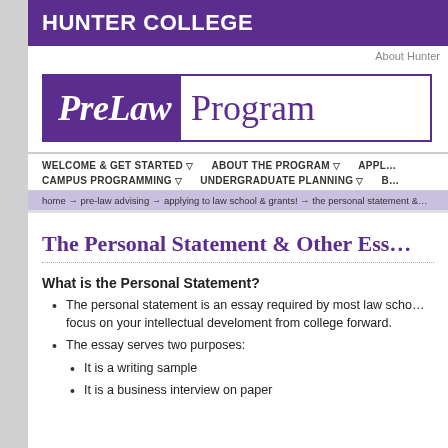HUNTER COLLEGE
About Hunter
[Figure (logo): PreLaw Program logo with purple pentagon shape on left with 'PreLaw' in white serif italic text and 'Program' in purple serif text on white background, bordered by purple rectangle]
WELCOME & GET STARTED ▽   ABOUT THE PROGRAM ▽   APPL…
CAMPUS PROGRAMMING ▽   UNDERGRADUATE PLANNING ▽   B…
home → pre-law advising → applying to law school & grants! → the personal statement &…
The Personal Statement & Other Ess…
What is the Personal Statement?
The personal statement is an essay required by most law scho… focus on your intellectual develoment from college forward.
The essay serves two purposes:
It is a writing sample
It is a business interview on paper